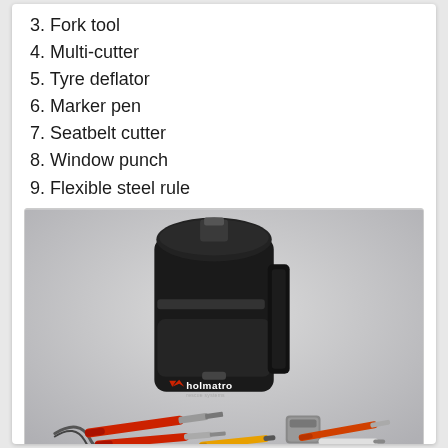3. Fork tool
4. Multi-cutter
5. Tyre deflator
6. Marker pen
7. Seatbelt cutter
8. Window punch
9. Flexible steel rule
[Figure (photo): Holmatro rescue tool kit showing a black leather holster/pouch with Holmatro logo, and various tools laid out in front including screwdrivers, a fork tool, marker pen, steel rule, and other rescue tools.]